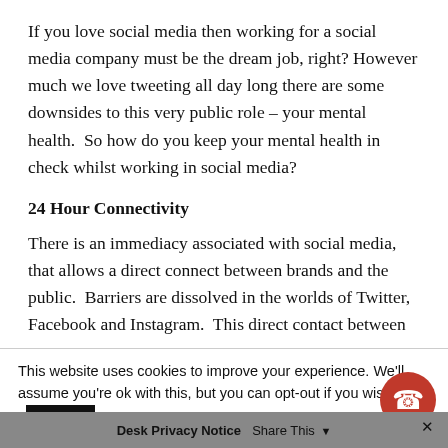If you love social media then working for a social media company must be the dream job, right? However much we love tweeting all day long there are some downsides to this very public role – your mental health.  So how do you keep your mental health in check whilst working in social media?
24 Hour Connectivity
There is an immediacy associated with social media, that allows a direct connect between brands and the public.  Barriers are dissolved in the worlds of Twitter, Facebook and Instagram.  This direct contact between
This website uses cookies to improve your experience. We'll assume you're ok with this, but you can opt-out if you wish.
Desk Privacy Notice   Share This ▼   ×